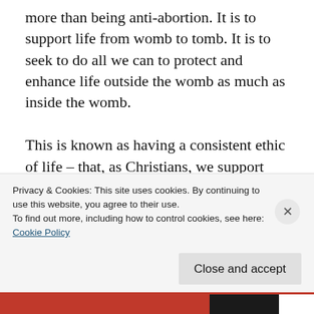more than being anti-abortion. It is to support life from womb to tomb. It is to seek to do all we can to protect and enhance life outside the womb as much as inside the womb.

This is known as having a consistent ethic of life – that, as Christians, we support everything that is pro-life and oppose everything that is anti-life. The late Cardinal Bernardin of Chicago described this stance as 'the seamless garment' approach to life issues. Christians
Privacy & Cookies: This site uses cookies. By continuing to use this website, you agree to their use.
To find out more, including how to control cookies, see here:
Cookie Policy
Close and accept